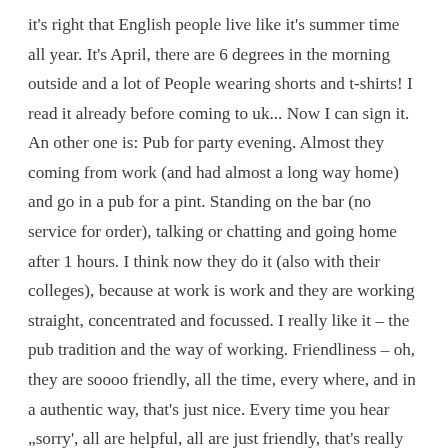it's right that English people live like it's summer time all year. It's April, there are 6 degrees in the morning outside and a lot of People wearing shorts and t-shirts! I read it already before coming to uk... Now I can sign it.  An other one is: Pub for party evening. Almost they coming from work (and had almost a long way home) and go in a pub for a pint. Standing on the bar (no service for order), talking or chatting and going home after 1 hours. I think now they do it (also with their colleges), because at work is work and they are working straight, concentrated and focussed. I really like it – the pub tradition and the way of working. Friendliness – oh, they are soooo friendly, all the time, every where, and in a authentic way, that's just nice. Every time you hear „sorry', all are helpful, all are just friendly, that's really amazing. One things isn't right: a lot of things are expensive, but healthy things aren't. It's just cheap to buy something in